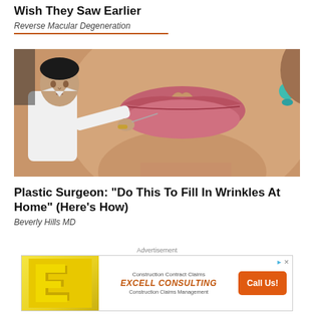Wish They Saw Earlier
Reverse Macular Degeneration
[Figure (photo): A plastic surgeon in white clothing holding a small instrument near a woman's lips, close-up view of woman's face showing lips and chin, tan skin, teal earring visible]
Plastic Surgeon: “Do This To Fill In Wrinkles At Home” (Here’s How)
Beverly Hills MD
Advertisement
[Figure (other): Advertisement banner for Excell Consulting showing yellow logo with 'E' shape, text: Construction Contract Claims, EXCELL CONSULTING, Construction Claims Management, and orange 'Call Us!' button]